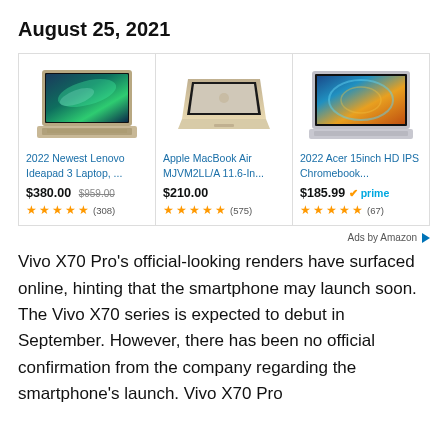August 25, 2021
[Figure (screenshot): Amazon product ads showing three laptops: 2022 Newest Lenovo Ideapad 3 Laptop at $380.00 (was $959.00), 4.5 stars (308 reviews); Apple MacBook Air MJVM2LL/A 11.6-In... at $210.00, 4.5 stars (575 reviews); 2022 Acer 15inch HD IPS Chromebook... at $185.99 with Prime badge, 4.5 stars (67 reviews)]
Ads by Amazon
Vivo X70 Pro’s official-looking renders have surfaced online, hinting that the smartphone may launch soon. The Vivo X70 series is expected to debut in September. However, there has been no official confirmation from the company regarding the smartphone’s launch. Vivo X70 Pro